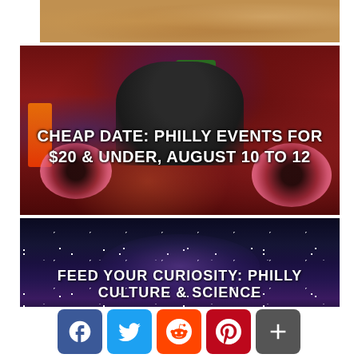[Figure (photo): Top strip showing a crowd at an event/party, warm tones.]
[Figure (photo): DJ spinning pink vinyl records on turntables in a dark red-lit room, wearing a green hat and headphones.]
CHEAP DATE: PHILLY EVENTS FOR $20 & UNDER, AUGUST 10 TO 12
[Figure (photo): Night sky with stars and Milky Way galaxy visible.]
FEED YOUR CURIOSITY: PHILLY CULTURE & SCIENCE
[Figure (infographic): Social share buttons: Facebook, Twitter, Reddit, Pinterest, More (+)]